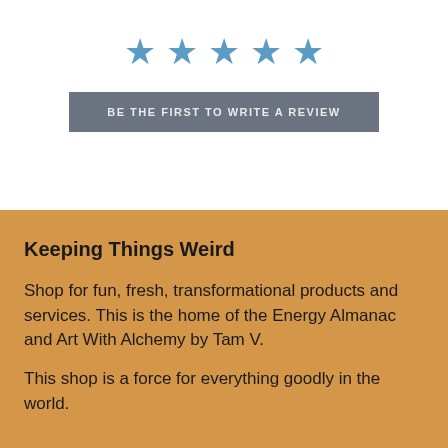[Figure (other): Five blue star icons in a row representing a 5-star rating]
BE THE FIRST TO WRITE A REVIEW
Keeping Things Weird
Shop for fun, fresh, transformational products and services. This is the home of the Energy Almanac and Art With Alchemy by Tam V.
This shop is a force for everything goodly in the world.